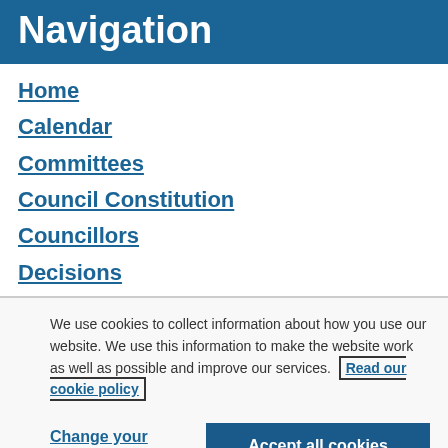Navigation
Home
Calendar
Committees
Council Constitution
Councillors
Decisions
We use cookies to collect information about how you use our website. We use this information to make the website work as well as possible and improve our services. Read our cookie policy
Change your cookie settings
Accept all cookies